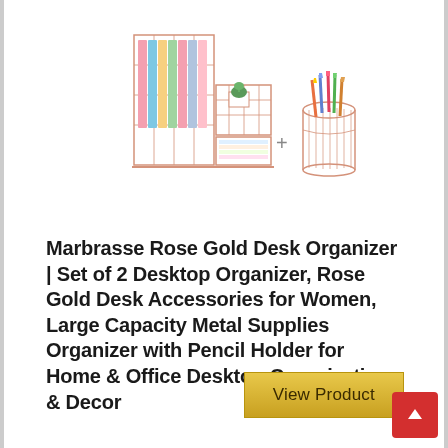[Figure (photo): Rose gold metallic wire desk organizer set with pencil holder, featuring pink and colorful books/items organized in compartments, small plant, and pencil cup]
Marbrasse Rose Gold Desk Organizer | Set of 2 Desktop Organizer, Rose Gold Desk Accessories for Women, Large Capacity Metal Supplies Organizer with Pencil Holder for Home & Office Desktop Organization & Decor
View Product